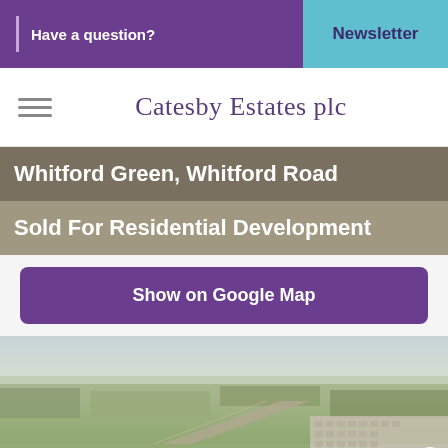Have a question?  |  Newsletter
Catesby Estates plc
Whitford Green, Whitford Road
Sold For Residential Development
Show on Google Map
[Figure (photo): Aerial photograph of rural and suburban landscape showing fields, roads, and housing development near Whitford Road]